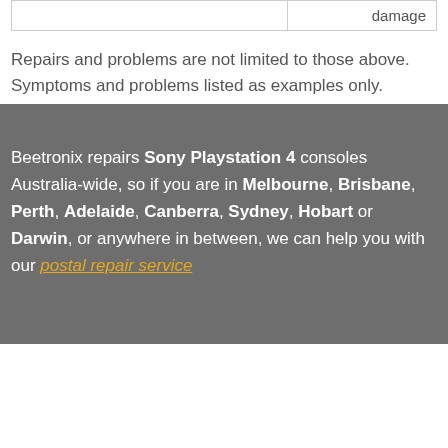|  | damage |
Repairs and problems are not limited to those above.
Symptoms and problems listed as examples only.
Beetronix repairs Sony Playstation 4 consoles Australia-wide, so if you are in Melbourne, Brisbane, Perth, Adelaide, Canberra, Sydney, Hobart or Darwin, or anywhere in between, we can help you with our postal repair service